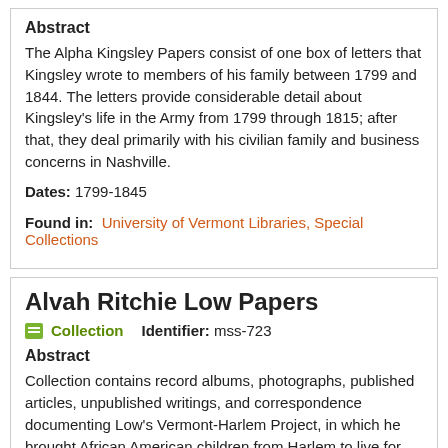Abstract
The Alpha Kingsley Papers consist of one box of letters that Kingsley wrote to members of his family between 1799 and 1844. The letters provide considerable detail about Kingsley’s life in the Army from 1799 through 1815; after that, they deal primarily with his civilian family and business concerns in Nashville.
Dates: 1799-1845
Found in: University of Vermont Libraries, Special Collections
Alvah Ritchie Low Papers
Collection   Identifier: mss-723
Abstract
Collection contains record albums, photographs, published articles, unpublished writings, and correspondence documenting Low's Vermont-Harlem Project, in which he brought African American children from Harlem to live for two weeks in rural Vermont homes, and sent white children from Vermont homes